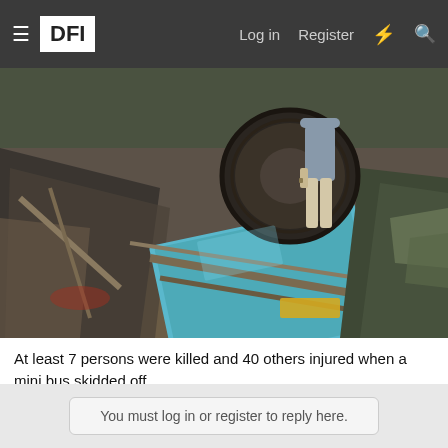≡ DFI   Log in   Register
[Figure (photo): Wreckage of a mini bus that fell from Bankim Setu flyover onto railway tracks at Howrah station. A person stands amid twisted metal, a large tire, and debris including a blue panel.]
At least 7 persons were killed and 40 others injured when a mini bus skidded off the Bankim Setu flyover and fell on the railway tracks at Howrah station. (PTI Photo)
You must log in or register to reply here.